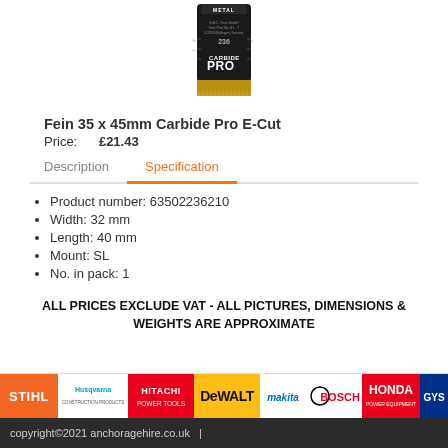[Figure (photo): Product photo of Fein 35x45mm Carbide Pro E-Cut blade, showing a dark rectangular blade with gold/yellow serrated cutting edge and 'CARBIDE PRO' branding on the body.]
Fein 35 x 45mm Carbide Pro E-Cut
Price: £21.43
Description | Specification (tab navigation, Specification active)
Product number: 63502236210
Width: 32 mm
Length: 40 mm
Mount: SL
No. in pack: 1
ALL PRICES EXCLUDE VAT - ALL PICTURES, DIMENSIONS & WEIGHTS ARE APPROXIMATE
[Figure (logo): Brand logos bar showing: STIHL, Husqvarna, HITACHI POWER TOOLS, DEWALT, Makita, BOSCH, HONDA POWER EQUIPMENT, GYS]
copyright©2021 anchoragehire.co.uk  |